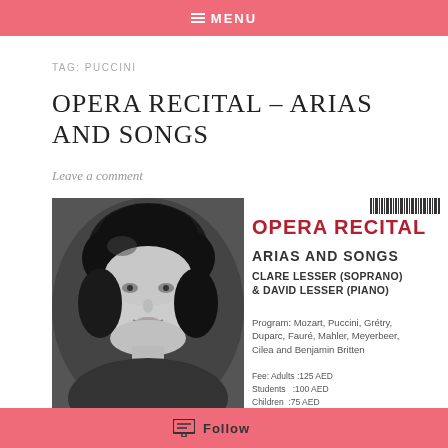MENU
TAG: PUCCINI
OPERA RECITAL – ARIAS AND SONGS
Leave a comment
[Figure (photo): Black and white portrait photo of Clare Lesser, soprano, smiling with curly dark hair]
[Figure (infographic): Opera Recital event card with barcode, showing: OPERA RECITAL ARIAS AND SONGS / CLARE LESSER (SOPRANO) & DAVID LESSER (PIANO) / Program: Mozart, Puccini, Grétry, Duparc, Fauré, Mahler, Meyerbeer, Cilea and Benjamin Britten / Fee: Adults :125 AED / Students :100 AED / Children: 75 AED]
Follow